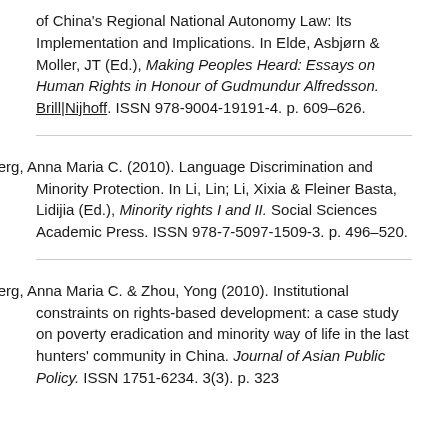of China's Regional National Autonomy Law: Its Implementation and Implications. In Elde, Asbjørn & Moller, JT (Ed.), Making Peoples Heard: Essays on Human Rights in Honour of Gudmundur Alfredsson. Brill|Nijhoff. ISSN 978-9004-19191-4. p. 609–626.
Lundberg, Anna Maria C. (2010). Language Discrimination and Minority Protection. In Li, Lin; Li, Xixia & Fleiner Basta, Lidijia (Ed.), Minority rights I and II. Social Sciences Academic Press. ISSN 978-7-5097-1509-3. p. 496–520.
Lundberg, Anna Maria C. & Zhou, Yong (2010). Institutional constraints on rights-based development: a case study on poverty eradication and minority way of life in the last hunters' community in China. Journal of Asian Public Policy. ISSN 1751-6234. 3(3). p. 323